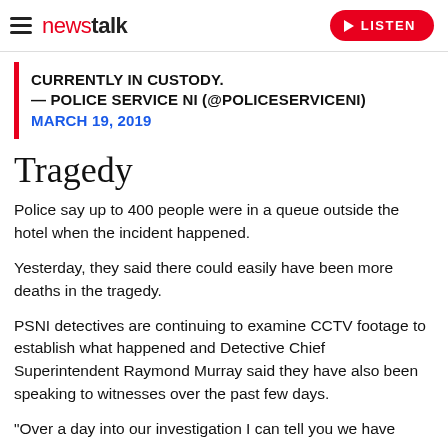newstalk | LISTEN
CURRENTLY IN CUSTODY.
— POLICE SERVICE NI (@POLICESERVICENI) MARCH 19, 2019
Tragedy
Police say up to 400 people were in a queue outside the hotel when the incident happened.
Yesterday, they said there could easily have been more deaths in the tragedy.
PSNI detectives are continuing to examine CCTV footage to establish what happened and Detective Chief Superintendent Raymond Murray said they have also been speaking to witnesses over the past few days.
"Over a day into our investigation I can tell you we have